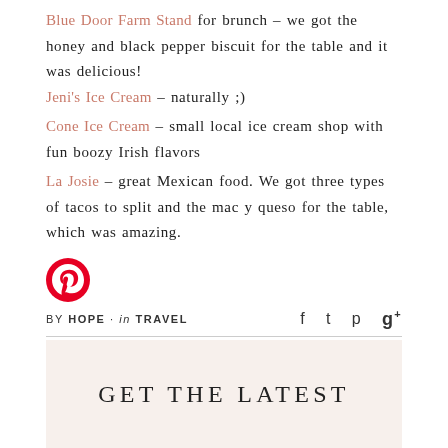Blue Door Farm Stand for brunch – we got the honey and black pepper biscuit for the table and it was delicious!
Jeni's Ice Cream – naturally ;)
Cone Ice Cream – small local ice cream shop with fun boozy Irish flavors
La Josie – great Mexican food. We got three types of tacos to split and the mac y queso for the table, which was amazing.
[Figure (logo): Pinterest circular logo icon in red/white]
BY HOPE · in TRAVEL
GET THE LATEST